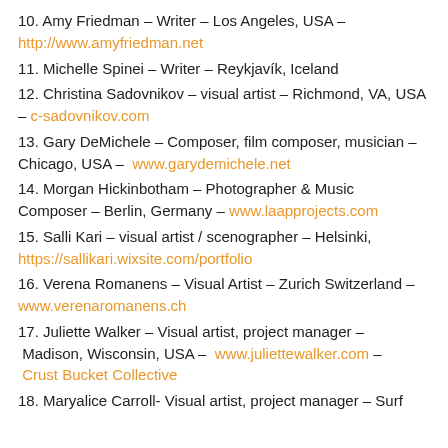10. Amy Friedman – Writer – Los Angeles, USA – http://www.amyfriedman.net
11. Michelle Spinei – Writer – Reykjavík, Iceland
12. Christina Sadovnikov – visual artist – Richmond, VA, USA – c-sadovnikov.com
13. Gary DeMichele – Composer, film composer, musician – Chicago, USA – www.garydemichele.net
14. Morgan Hickinbotham – Photographer & Music Composer – Berlin, Germany – www.laapprojects.com
15. Salli Kari – visual artist / scenographer – Helsinki, https://sallikari.wixsite.com/portfolio
16. Verena Romanens – Visual Artist – Zurich Switzerland – www.verenaromanens.ch
17. Juliette Walker – Visual artist, project manager – Madison, Wisconsin, USA – www.juliettewalker.com – Crust Bucket Collective
18. Maryalice Carroll- Visual artist, project manager – Surf